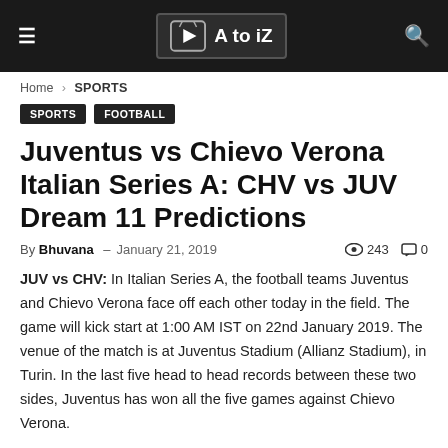A to iZ
Home › SPORTS
SPORTS
FOOTBALL
Juventus vs Chievo Verona Italian Series A: CHV vs JUV Dream 11 Predictions
By Bhuvana – January 21, 2019  243  0
JUV vs CHV: In Italian Series A, the football teams Juventus and Chievo Verona face off each other today in the field. The game will kick start at 1:00 AM IST on 22nd January 2019. The venue of the match is at Juventus Stadium (Allianz Stadium), in Turin. In the last five head to head records between these two sides, Juventus has won all the five games against Chievo Verona.